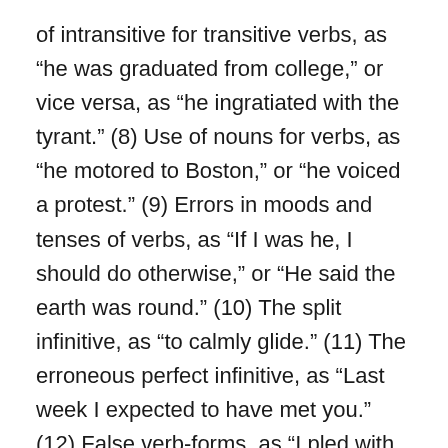of intransitive for transitive verbs, as "he was graduated from college," or vice versa, as "he ingratiated with the tyrant." (8) Use of nouns for verbs, as "he motored to Boston," or "he voiced a protest." (9) Errors in moods and tenses of verbs, as "If I was he, I should do otherwise," or "He said the earth was round." (10) The split infinitive, as "to calmly glide." (11) The erroneous perfect infinitive, as "Last week I expected to have met you." (12) False verb-forms, as "I pled with him." (13) Use of like for as, as "I strive to write like Pope wrote." (14) Misuse of prepositions, as "The gift was bestowed to an unworthy object," or "The gold was divided between the five men." (15) The superfluous conjunction, as "I wish for you to do this." (16) Use of words in wrong senses, as "The